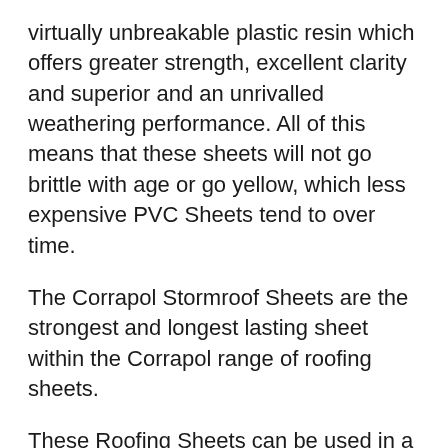virtually unbreakable plastic resin which offers greater strength, excellent clarity and superior and an unrivalled weathering performance. All of this means that these sheets will not go brittle with age or go yellow, which less expensive PVC Sheets tend to over time.
The Corrapol Stormroof Sheets are the strongest and longest lasting sheet within the Corrapol range of roofing sheets.
These Roofing Sheets can be used in a variety of situations and are very simple to install. Providing a weatherproof finish to your sub structure below and allowing good light transmission into the space below.